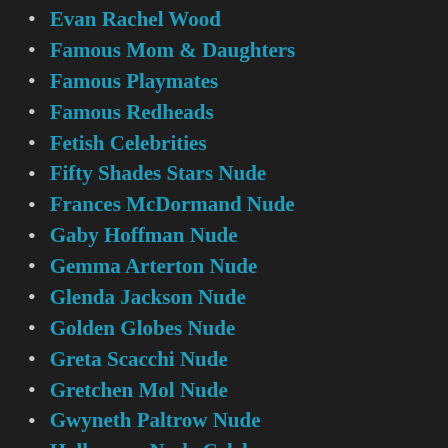Evan Rachel Wood
Famous Mom & Daughters
Famous Playmates
Famous Redheads
Fetish Celebrities
Fifty Shades Stars Nude
Frances McDormand Nude
Gaby Hoffman Nude
Gemma Arterton Nude
Glenda Jackson Nude
Golden Globes Nude
Greta Scacchi Nude
Gretchen Mol Nude
Gwyneth Paltrow Nude
Halloween Nude Celebs
Holly Madison Nude